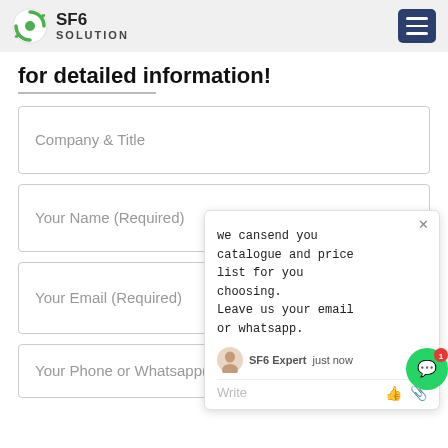SF6 SOLUTION
for detailed information!
[Figure (screenshot): Chat popup widget showing message: 'we can send you catalogue and price list for you choosing. Leave us your email or whatsapp.' with SF6 Expert agent name, 'just now' timestamp, and Write input row with thumbs up and paperclip icons. Includes a WhatsApp green circle button with notification badge '1'.]
Company & Title
Your Name (Required)
Your Email (Required)
Your Phone or Whatsapp(Required)